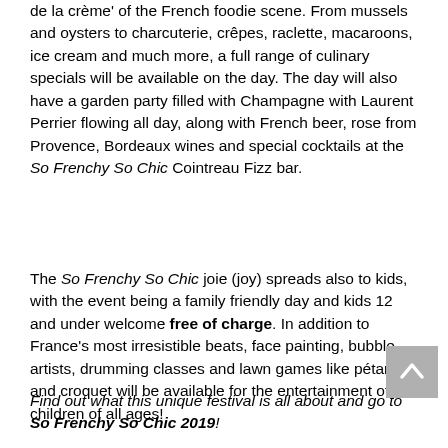de la crème' of the French foodie scene. From mussels and oysters to charcuterie, crêpes, raclette, macaroons, ice cream and much more, a full range of culinary specials will be available on the day. The day will also have a garden party filled with Champagne with Laurent Perrier flowing all day, along with French beer, rose from Provence, Bordeaux wines and special cocktails at the So Frenchy So Chic Cointreau Fizz bar.
The So Frenchy So Chic joie (joy) spreads also to kids, with the event being a family friendly day and kids 12 and under welcome free of charge. In addition to France's most irresistible beats, face painting, bubble artists, drumming classes and lawn games like pétanque and croquet will be available for the entertainment of children of all ages!
Find out what this unique festival is all about and go to So Frenchy So Chic 2019!